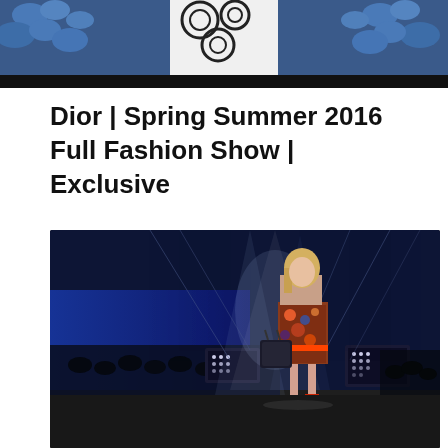[Figure (photo): Top portion of a fashion show photo showing a model in a white dress with dark floral/circular pattern against a background of blue flowers]
Dior | Spring Summer 2016 Full Fashion Show | Exclusive
[Figure (photo): Fashion show runway photo of a model walking on a darkened stage with dramatic blue lighting, wearing a colorful printed mini dress and carrying a dark handbag, with red ankle-strap platform heels, audience seated in background]